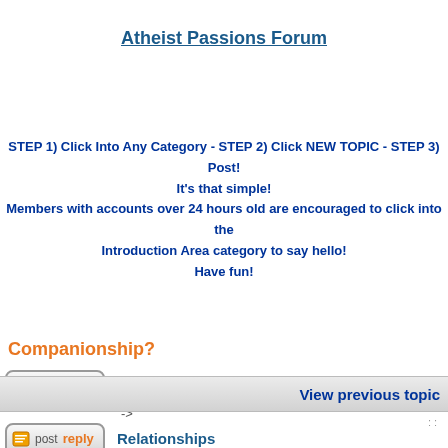Atheist Passions Forum
STEP 1) Click Into Any Category - STEP 2) Click NEW TOPIC - STEP 3) Post!
It's that simple!
Members with accounts over 24 hours old are encouraged to click into the Introduction Area category to say hello!
Have fun!
Companionship?
Atheist Passions Forum index -> Relationships
View previous topic